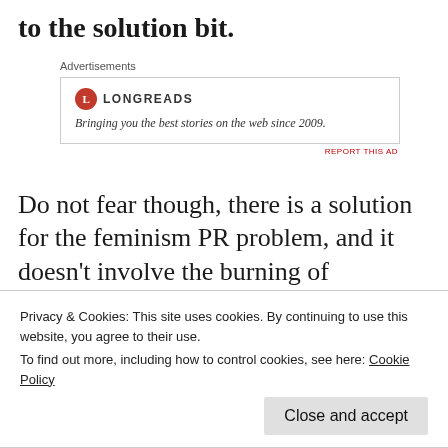to the solution bit.
Advertisements
[Figure (other): Longreads advertisement banner with logo and tagline: Bringing you the best stories on the web since 2009.]
REPORT THIS AD
Do not fear though, there is a solution for the feminism PR problem, and it doesn’t involve the burning of undergarments. It is purely in the terminology, the thing is there is no difference between fighting for equal rights and fighting for feminism, they want the same thing. Calling it
Privacy & Cookies: This site uses cookies. By continuing to use this website, you agree to their use.
To find out more, including how to control cookies, see here: Cookie Policy
Close and accept
equality battle. They have been the oppressed for